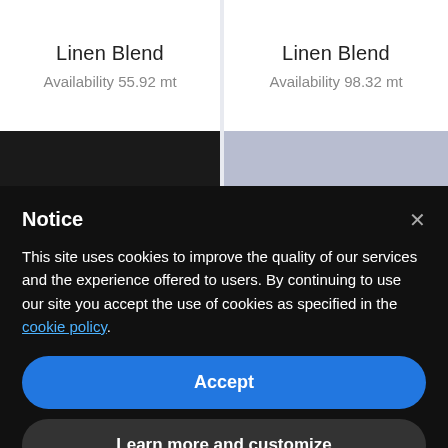Linen Blend
Availability 55.92 mt
Linen Blend
Availability 98.32 mt
Notice
This site uses cookies to improve the quality of our services and the experience offered to users. By continuing to use our site you accept the use of cookies as specified in the cookie policy.
Accept
Learn more and customize